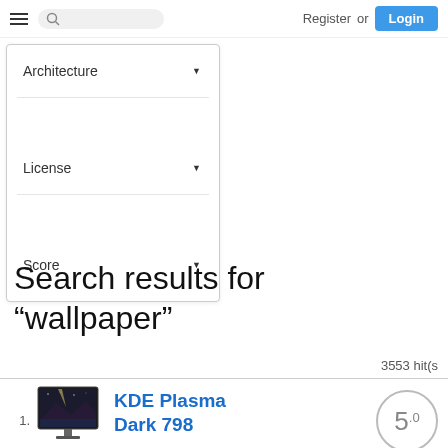Register or Login
Architecture
License
Score
Search results for "wallpaper"
3553 hit(s
1. KDE Plasma Dark 798
Aug 19 2022
5.0